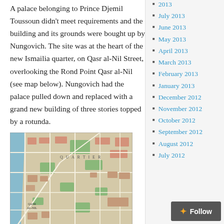A palace belonging to Prince Djemil Toussoun didn't meet requirements and the building and its grounds were bought up by Nungovich. The site was at the heart of the new Ismailia quarter, on Qasr al-Nil Street, overlooking the Rond Point Qasr al-Nil (see map below). Nungovich had the palace pulled down and replaced with a grand new building of three stories topped by a rotunda.
[Figure (map): Historical map of the Ismailia quarter in Cairo, showing Qasr al-Nil Street and surrounding streets, green parks, and buildings in a bird's eye cartographic style.]
2013
July 2013
June 2013
May 2013
April 2013
March 2013
February 2013
January 2013
December 2012
November 2012
October 2012
September 2012
August 2012
July 2012